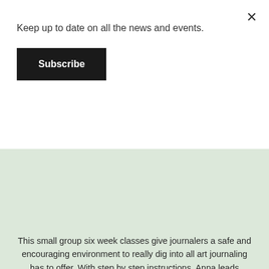Keep up to date on all the news and events.
Subscribe
-
This small group six week classes give journalers a safe and encouraging environment to really dig into all art journaling has to offer. With step by step instructions, Anna leads journalers through self-exploration and self-expression. With writing prompts, painting suggestions and composition explanations, Journalers learn to use art journaling to discover the creative person hidden inside them.